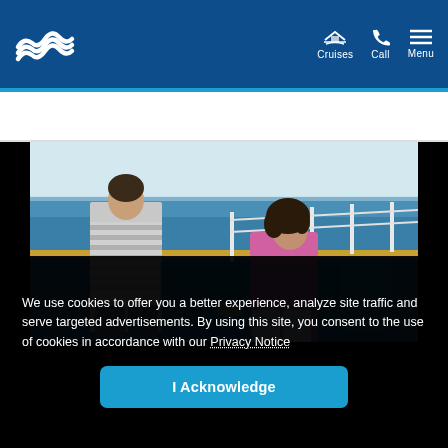Princess Cruises — Cruises | Call | Menu
[Figure (photo): Couple standing on a cruise ship deck looking out at the ocean, man in striped shirt and woman in pink top with white pants, blue deck and white railing visible]
We use cookies to offer you a better experience, analyze site traffic and serve targeted advertisements. By using this site, you consent to the use of cookies in accordance with our Privacy Notice